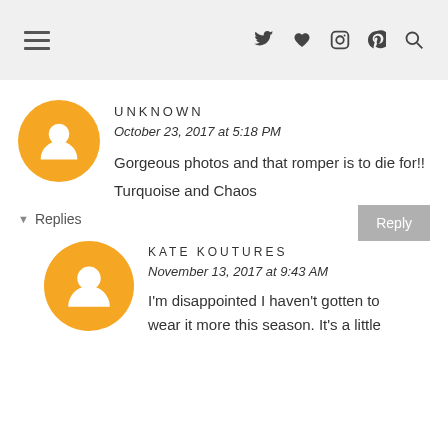Navigation header with hamburger menu and social icons: Twitter, Heart, Instagram, Pinterest, Search
UNKNOWN
October 23, 2017 at 5:18 PM
Gorgeous photos and that romper is to die for!!
Turquoise and Chaos
Replies
KATE KOUTURES
November 13, 2017 at 9:43 AM
I'm disappointed I haven't gotten to wear it more this season. It's a little